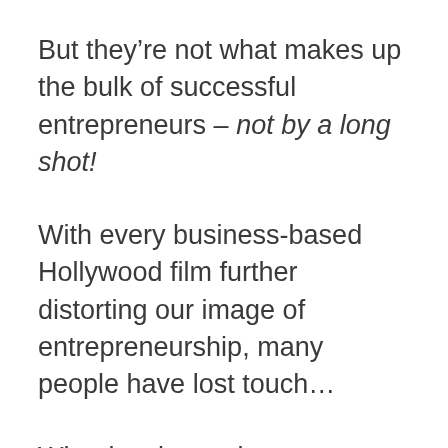But they're not what makes up the bulk of successful entrepreneurs – not by a long shot!
With every business-based Hollywood film further distorting our image of entrepreneurship, many people have lost touch…
What is takes to become a successful entrepreneur has never and will never change.